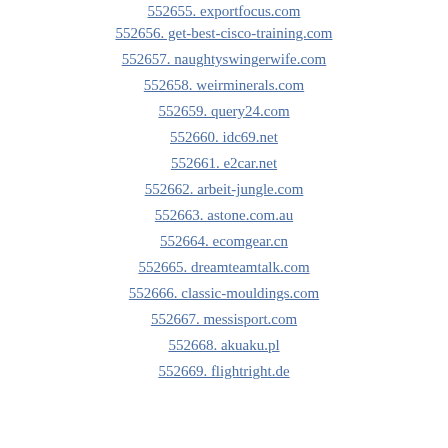552655. exportfocus.com
552656. get-best-cisco-training.com
552657. naughtyswingerwife.com
552658. weirminerals.com
552659. query24.com
552660. idc69.net
552661. e2car.net
552662. arbeit-jungle.com
552663. astone.com.au
552664. ecomgear.cn
552665. dreamteamtalk.com
552666. classic-mouldings.com
552667. messisport.com
552668. akuaku.pl
552669. flightright.de